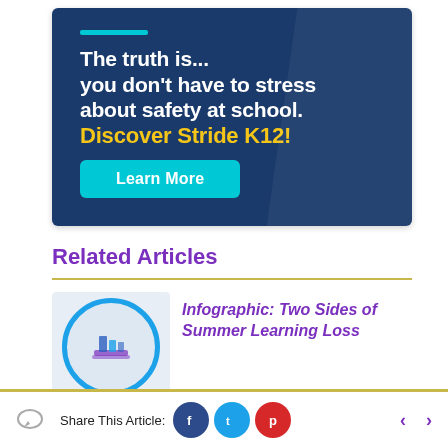[Figure (infographic): Advertisement banner for Stride K12 with dark blue background, cyan accent line, white bold headline text, yellow call-to-action text, and a cyan 'Learn More' button.]
Related Articles
[Figure (illustration): Circular icon with blue border showing a bookshelf or library basket graphic, used as thumbnail for article about Summer Learning Loss.]
Infographic: Two Sides of Summer Learning Loss
Share This Article:
[Figure (logo): Social share bar with Facebook, Twitter, and Pinterest icons, and left/right navigation arrows.]